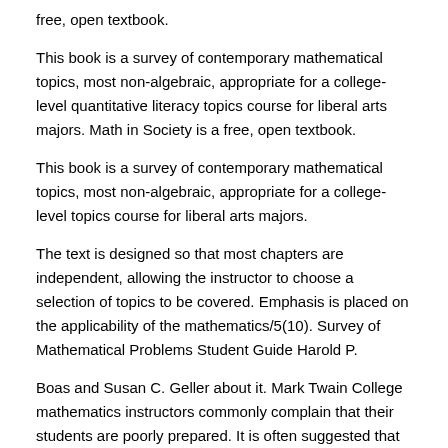free, open textbook.
This book is a survey of contemporary mathematical topics, most non-algebraic, appropriate for a college-level quantitative literacy topics course for liberal arts majors. Math in Society is a free, open textbook.
This book is a survey of contemporary mathematical topics, most non-algebraic, appropriate for a college-level topics course for liberal arts majors.
The text is designed so that most chapters are independent, allowing the instructor to choose a selection of topics to be covered. Emphasis is placed on the applicability of the mathematics/5(10). Survey of Mathematical Problems Student Guide Harold P.
Boas and Susan C. Geller about it. Mark Twain College mathematics instructors commonly complain that their students are poorly prepared. It is often suggested that this is a corollary of the stu-dents' high school teachers being poorly prepared.
such in his puzzle books File Size: KB. A Survey of Mathematics with